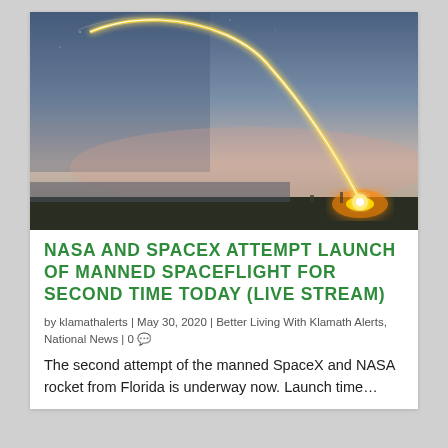[Figure (photo): Long-exposure night photo of a rocket launch showing a bright glowing arc trail from ground level curving up and over a coastal landscape against a twilight sky]
NASA AND SPACEX ATTEMPT LAUNCH OF MANNED SPACEFLIGHT FOR SECOND TIME TODAY (LIVE STREAM)
by klamathalerts | May 30, 2020 | Better Living With Klamath Alerts, National News | 0
The second attempt of the manned SpaceX and NASA rocket from Florida is underway now. Launch time…